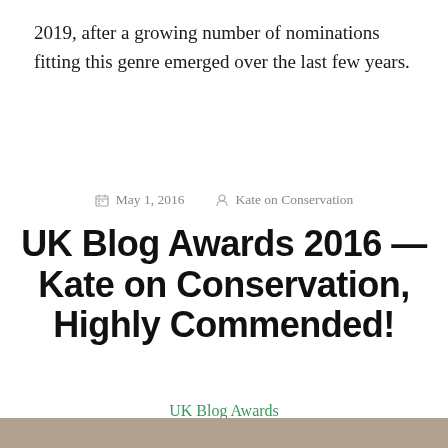2019, after a growing number of nominations fitting this genre emerged over the last few years.
May 1, 2016   Kate on Conservation
UK Blog Awards 2016 — Kate on Conservation, Highly Commended!
UK Blog Awards
[Figure (photo): Bottom strip showing a partial photograph]